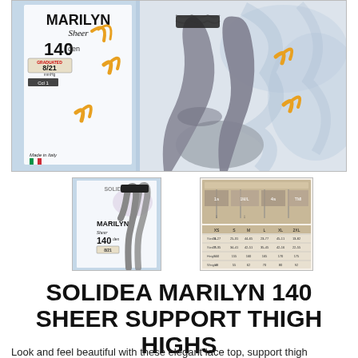[Figure (photo): Main product image showing Marilyn Sheer 140 den compression thigh high stockings with lace top. Box shows Graduated 8/21 mmHg, Ccl 1, Made in Italy label with Italian flag.]
[Figure (photo): Thumbnail 1: Product box showing Solidea Marilyn 140 branding with model wearing stockings]
[Figure (photo): Thumbnail 2: Size chart/measurement guide table for the stockings]
SOLIDEA MARILYN 140 SHEER SUPPORT THIGH HIGHS
Look and feel beautiful with these elegant lace top, support thigh